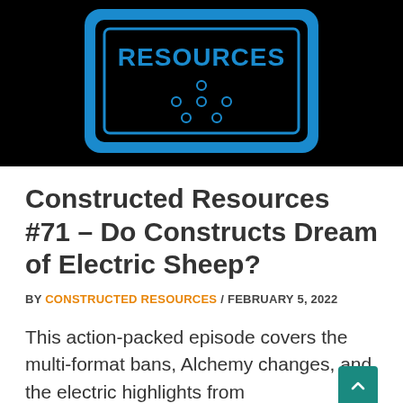[Figure (logo): Constructed Resources podcast logo — blue graphic on black background showing 'RESOURCES' text in blue with a dice pattern of circles on a blue outlined rectangle]
Constructed Resources #71 – Do Constructs Dream of Electric Sheep?
BY CONSTRUCTED RESOURCES / FEBRUARY 5, 2022
This action-packed episode covers the multi-format bans, Alchemy changes, and the electric highlights from